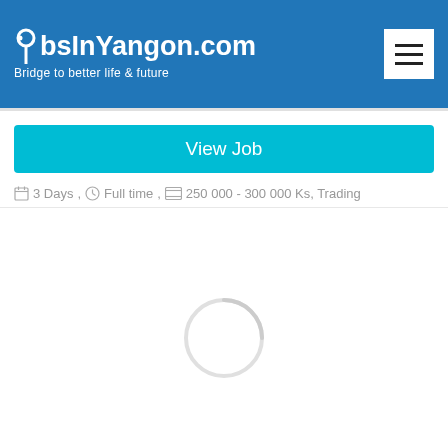JobsInYangon.com — Bridge to better life & future
View Job
3 Days, Full time , 250 000 - 300 000 Ks, Trading
[Figure (other): Loading spinner circle, partially visible arc indicating loading state]